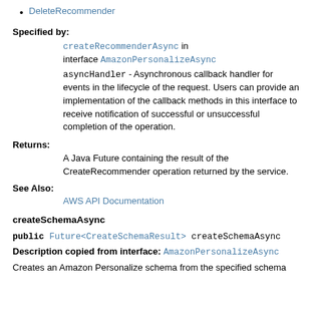DeleteRecommender
Specified by:
createRecommenderAsync in interface AmazonPersonalizeAsync
asyncHandler - Asynchronous callback handler for events in the lifecycle of the request. Users can provide an implementation of the callback methods in this interface to receive notification of successful or unsuccessful completion of the operation.
Returns:
A Java Future containing the result of the CreateRecommender operation returned by the service.
See Also:
AWS API Documentation
createSchemaAsync
public Future<CreateSchemaResult> createSchemaAsync
Description copied from interface: AmazonPersonalizeAsync
Creates an Amazon Personalize schema from the specified schema